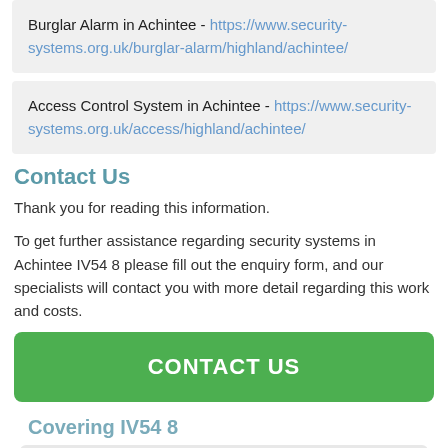Burglar Alarm in Achintee - https://www.security-systems.org.uk/burglar-alarm/highland/achintee/
Access Control System in Achintee - https://www.security-systems.org.uk/access/highland/achintee/
Contact Us
Thank you for reading this information.
To get further assistance regarding security systems in Achintee IV54 8 please fill out the enquiry form, and our specialists will contact you with more detail regarding this work and costs.
CONTACT US
Covering IV54 8
[Figure (map): Map showing coverage area for IV54 8 with a location marker icon]